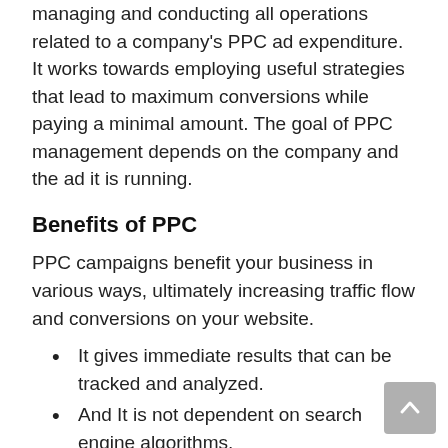managing and conducting all operations related to a company's PPC ad expenditure. It works towards employing useful strategies that lead to maximum conversions while paying a minimal amount. The goal of PPC management depends on the company and the ad it is running.
Benefits of PPC
PPC campaigns benefit your business in various ways, ultimately increasing traffic flow and conversions on your website.
It gives immediate results that can be tracked and analyzed.
And It is not dependent on search engine algorithms.
It increases brand recognition and generates leads.